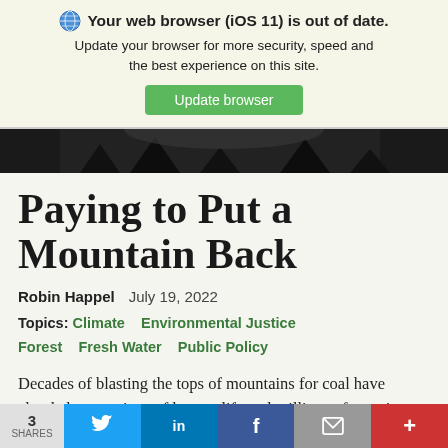Your web browser (iOS 11) is out of date. Update your browser for more security, speed and the best experience on this site. Update browser
[Figure (photo): Dark hero image strip with trees/sky silhouette]
Paying to Put a Mountain Back
Robin Happel   July 19, 2022
Topics: Climate   Environmental Justice   Forest   Fresh Water   Public Policy
Decades of blasting the tops of mountains for coal have clouded generations of human life and millions of years' worth of other life in Appalachia
3 SHARES  [Twitter] [LinkedIn] [Facebook] [Email] [More]